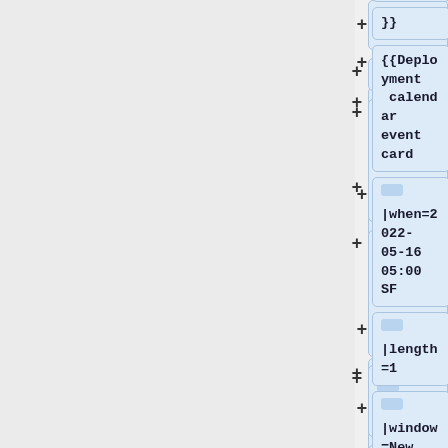change''
}}
{{Deployment calendar event card
|when=2022-05-16 05:00 SF
|length=1
|window=New wiki creation
|who= {{ircnick|Ur